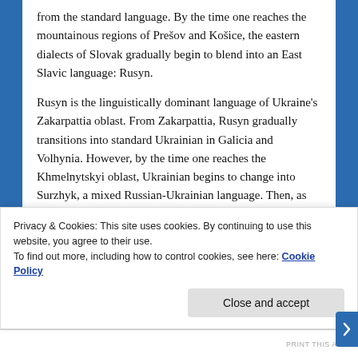from the standard language. By the time one reaches the mountainous regions of Prešov and Košice, the eastern dialects of Slovak gradually begin to blend into an East Slavic language: Rusyn.
Rusyn is the linguistically dominant language of Ukraine's Zakarpattia oblast. From Zakarpattia, Rusyn gradually transitions into standard Ukrainian in Galicia and Volhynia. However, by the time one reaches the Khmelnytskyi oblast, Ukrainian begins to change into Surzhyk, a mixed Russian-Ukrainian language. Then, as one moves further east to the Sumy and Kharkov oblasti, Surzhyk begins to blend into Russian, specifically the southern dialect of Russian. By the time one reaches Moscow, the language has evolved into standard Russian.
Privacy & Cookies: This site uses cookies. By continuing to use this website, you agree to their use.
To find out more, including how to control cookies, see here: Cookie Policy
Close and accept
PRINT THIS AP...